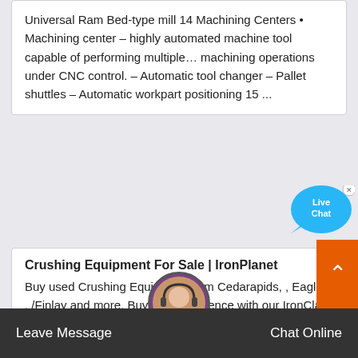Universal Ram Bed-type mill 14 Machining Centers • Machining center – highly automated machine tool capable of performing multiple... machining operations under CNC control. – Automatic tool changer – Pallet shuttles – Automatic workpart positioning 15 ...
[Figure (other): Live Chat bubble icon in blue, with an X close button]
Crushing Equipment For Sale | IronPlanet
Buy used Crushing Equipment from Cedarapids, , Eagle, , , /Finlay and more. Buy with confidence with our IronClad Assurance®. Crushers for Sal... Buy and sell unused and used Crushers at IronPlanet. Whether looking for a Cone Crusher, Impact Crusher, Jaw...r or other various
[Figure (photo): Customer service representative avatar photo (woman with headset)]
Leave Message
Chat Online